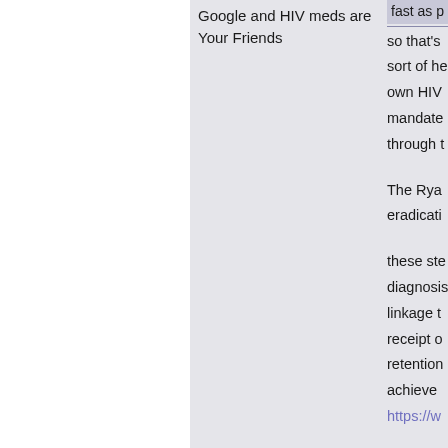Google and HIV meds are Your Friends
fast as p
so that's sort of he own HIV mandate through t
The Rya eradicati
these ste diagnosis linkage t receipt o retention achieve https://w
In the pa time has does the person is goal is to undetect